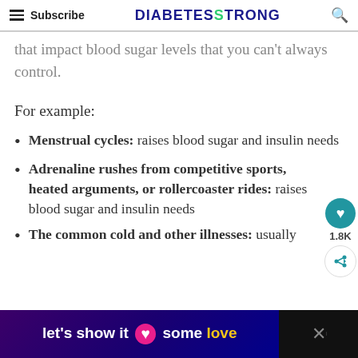Subscribe | DIABETESTRONG
that impact blood sugar levels that you can't always control.
For example:
Menstrual cycles: raises blood sugar and insulin needs
Adrenaline rushes from competitive sports, heated arguments, or rollercoaster rides: raises blood sugar and insulin needs
The common cold and other illnesses: usually
[Figure (other): Advertisement banner at bottom: dark purple/blue gradient background with pink heart graphic and text 'let's show it some love' in white and yellow, with a close button on the right.]